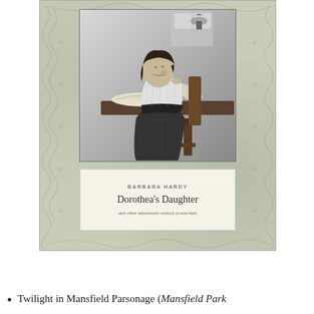[Figure (illustration): Book cover of 'Dorothea's Daughter and other nineteenth-century postscripts' by Barbara Hardy. The cover features a sage green decorative background with a black-and-white illustration of a young woman seated at a desk, leaning forward with her chin resting on her hand, reading an open book. Below the illustration is a cream-colored text box with the author name BARBARA HARDY, the title Dorothea's Daughter, and subtitle 'and other nineteenth-century postscripts'.]
Twilight in Mansfield Parsonage (Mansfield Park